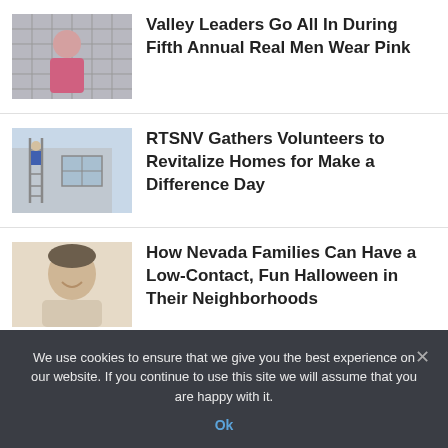[Figure (photo): Person in pink jacket against tiled/brick wall background]
Valley Leaders Go All In During Fifth Annual Real Men Wear Pink
[Figure (photo): People painting or renovating the exterior of a house]
RTSNV Gathers Volunteers to Revitalize Homes for Make a Difference Day
[Figure (photo): Smiling man portrait, close-up headshot]
How Nevada Families Can Have a Low-Contact, Fun Halloween in Their Neighborhoods
[Figure (photo): Green Cowabunga Bay themed image]
Girl Scouts to “drop” 667,000 Cookies
We use cookies to ensure that we give you the best experience on our website. If you continue to use this site we will assume that you are happy with it.